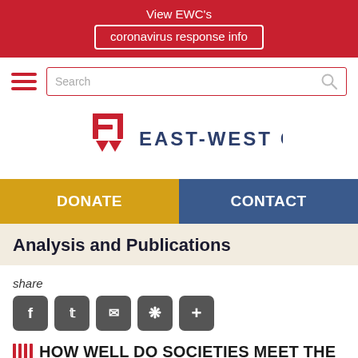View EWC's coronavirus response info
[Figure (logo): East-West Center logo with stylized E and W mark in red and text EAST-WEST CENTER]
DONATE   CONTACT
Analysis and Publications
share
HOW WELL DO SOCIETIES MEET THE CONSUMPTION NEEDS OF ALL AGE GROUPS?